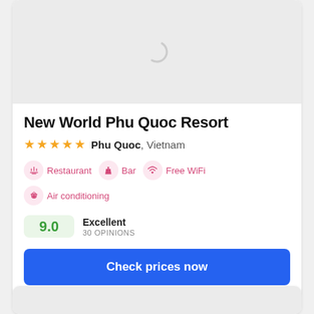[Figure (screenshot): Gray image placeholder with spinner loading icon]
New World Phu Quoc Resort
★★★★★ Phu Quoc, Vietnam
Restaurant  Bar  Free WiFi  Air conditioning
9.0  Excellent  30 OPINIONS
Check prices now
[Figure (screenshot): Bottom card image placeholder, gray]